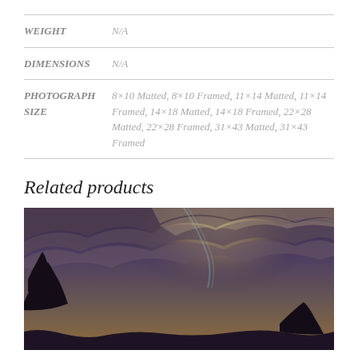| Attribute | Value |
| --- | --- |
| WEIGHT | N/A |
| DIMENSIONS | N/A |
| PHOTOGRAPH SIZE | 8×10 Matted, 8×10 Framed, 11×14 Matted, 11×14 Framed, 14×18 Matted, 14×18 Framed, 22×28 Matted, 22×28 Framed, 31×43 Matted, 31×43 Framed |
Related products
[Figure (photo): Dramatic sky with clouds, warm golden light, silhouetted trees in foreground]